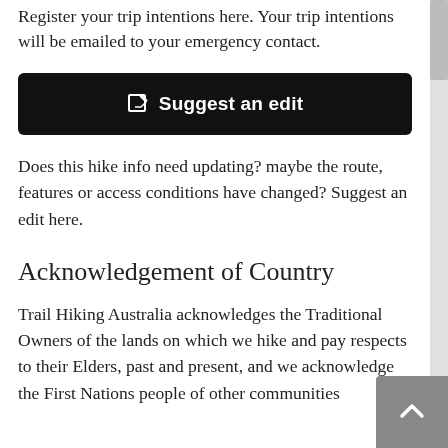Register your trip intentions here. Your trip intentions will be emailed to your emergency contact.
[Figure (other): Black button labeled 'Suggest an edit' with a pencil/edit icon on the left]
Does this hike info need updating? maybe the route, features or access conditions have changed? Suggest an edit here.
Acknowledgement of Country
Trail Hiking Australia acknowledges the Traditional Owners of the lands on which we hike and pay respects to their Elders, past and present, and we acknowledge the First Nations people of other communities